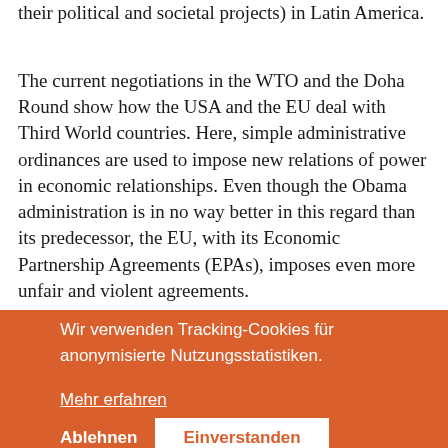their political and societal projects) in Latin America.
The current negotiations in the WTO and the Doha Round show how the USA and the EU deal with Third World countries. Here, simple administrative ordinances are used to impose new relations of power in economic relationships. Even though the Obama administration is in no way better in this regard than its predecessor, the EU, with its Economic Partnership Agreements (EPAs), imposes even more unfair and violent agreements.
The reorganization of the power relations ... matrix of dependence ... trade, technology, money and finance. The effect is that financial speculation and deregulation of becoming even more wide ... which is a further destruction of welfare states. For this reason, a New International Financial Architecture is the first means to regain the political scope of action of nation-
[Figure (other): Cookie consent overlay in orange/red color with German text: 'Wir verwenden Tracking-Cookies für anonymisierte Nutzungsstatistiken.' and a 'Mehr erfahren' link, plus two buttons: 'Ablehnen' and 'Einverstanden'.]